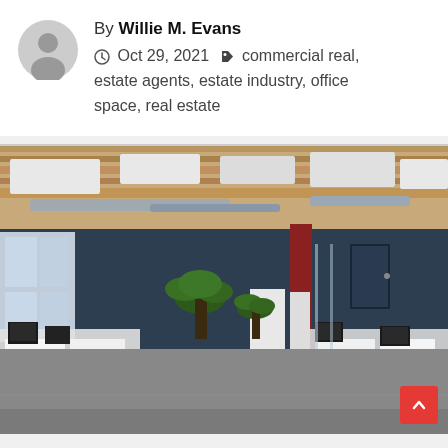By Willie M. Evans
⊙ Oct 29, 2021 🏷 commercial real, estate agents, estate industry, office space, real estate
[Figure (photo): Open-plan office space with exposed wooden ceiling beams, industrial HVAC ducts, white acoustic panels, workstations with monitors, tall potted plants, dark blue accent walls, and polished concrete floors.]